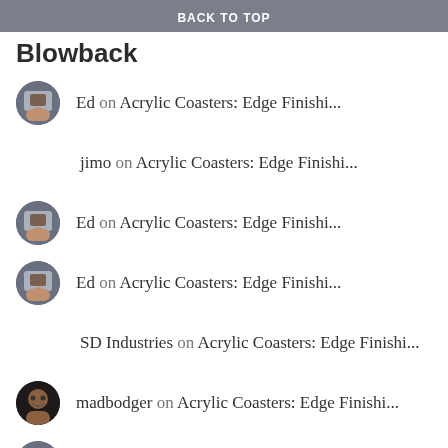BACK TO TOP
Blowback
Ed on Acrylic Coasters: Edge Finishi...
jimo on Acrylic Coasters: Edge Finishi...
Ed on Acrylic Coasters: Edge Finishi...
Ed on Acrylic Coasters: Edge Finishi...
SD Industries on Acrylic Coasters: Edge Finishi...
madbodger on Acrylic Coasters: Edge Finishi...
Acrylic Coasters: Ed... on Rounded Petal